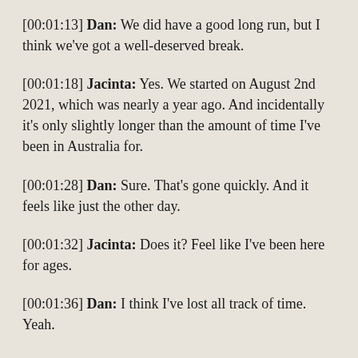[00:01:13] Dan: We did have a good long run, but I think we've got a well-deserved break.
[00:01:18] Jacinta: Yes. We started on August 2nd 2021, which was nearly a year ago. And incidentally it's only slightly longer than the amount of time I've been in Australia for.
[00:01:28] Dan: Sure. That's gone quickly. And it feels like just the other day.
[00:01:32] Jacinta: Does it? Feel like I've been here for ages.
[00:01:36] Dan: I think I've lost all track of time. Yeah.